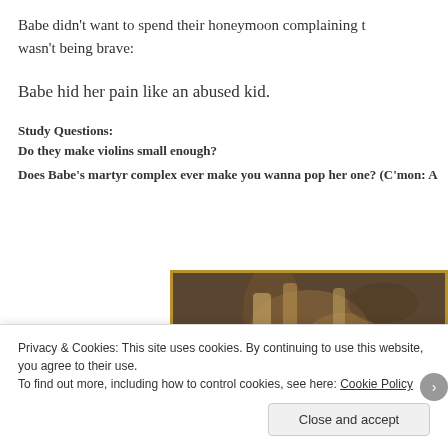Babe didn't want to spend their honeymoon complaining t… wasn't being brave:
Babe hid her pain like an abused kid.
Study Questions:
Do they make violins small enough?
Does Babe's martyr complex ever make you wanna pop her one? (C'mon: A…
[Figure (photo): Sepia-toned photograph with gold/brown border showing a close-up of what appears to be hands or a person, with foliage/palms in the background]
Privacy & Cookies: This site uses cookies. By continuing to use this website, you agree to their use.
To find out more, including how to control cookies, see here: Cookie Policy
Close and accept